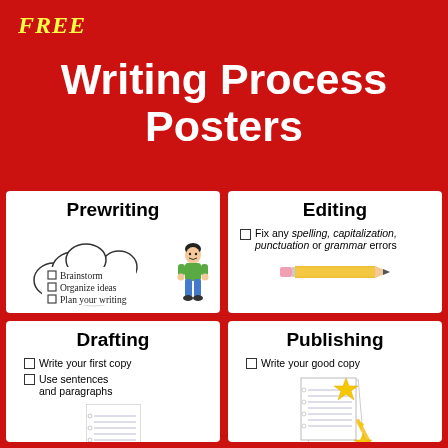FREE Writing Process Posters
Prewriting
Brainstorm
Organize ideas
Plan your writing
Editing
Fix any spelling, capitalization, punctuation or grammar errors
Drafting
Write your first copy
Use sentences and paragraphs
Publishing
Write your good copy